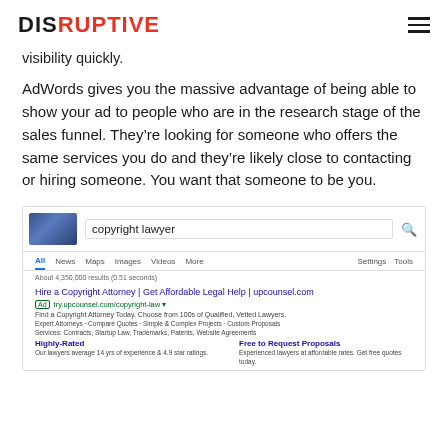DISRUPTIVE
visibility quickly.
AdWords gives you the massive advantage of being able to show your ad to people who are in the research stage of the sales funnel. They’re looking for someone who offers the same services you do and they’re likely close to contacting or hiring someone. You want that someone to be you.
[Figure (screenshot): Google search results screenshot for 'copyright lawyer' showing a sponsored ad for upcounsel.com with title 'Hire a Copyright Attorney | Get Affordable Legal Help | upcounsel.com']